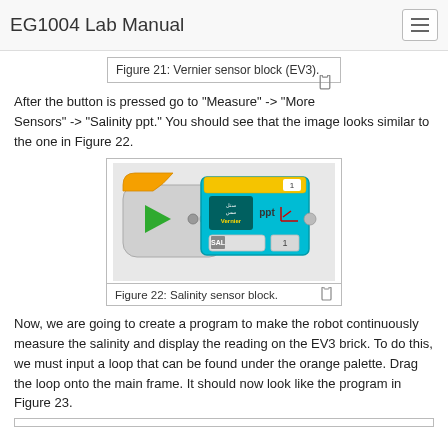EG1004 Lab Manual
Figure 21: Vernier sensor block (EV3).
After the button is pressed go to "Measure" -> "More Sensors" -> "Salinity ppt." You should see that the image looks similar to the one in Figure 22.
[Figure (screenshot): Screenshot of EV3 programming block showing Vernier salinity sensor block with play button, Vernier sensor icon, ppt label, and SAL indicator]
Figure 22: Salinity sensor block.
Now, we are going to create a program to make the robot continuously measure the salinity and display the reading on the EV3 brick. To do this, we must input a loop that can be found under the orange palette. Drag the loop onto the main frame. It should now look like the program in Figure 23.